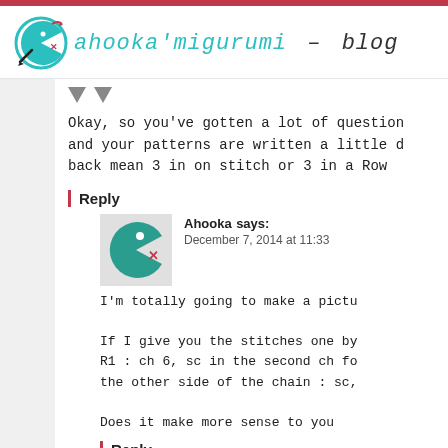ahooka'migurumi – blog
Okay, so you've gotten a lot of question and your patterns are written a little d back mean 3 in on stitch or 3 in a row
Reply
Ahooka says:
December 7, 2014 at 11:33
I'm totally going to make a pictu
If I give you the stitches one by
R1 : ch 6, sc in the second ch fo
the other side of the chain : sc,
Does it make more sense to you
Reply
Urbsie says: